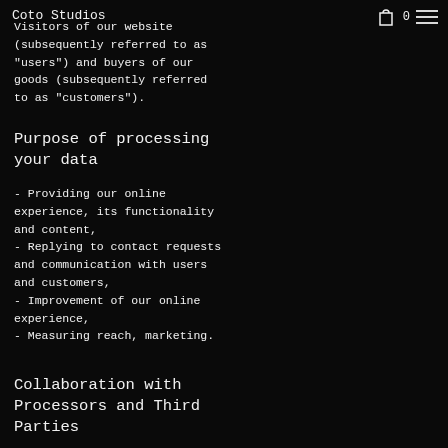Coto Studios
Visitors of our website (subsequently referred to as "users") and buyers of our goods (subsequently referred to as "customers").
Purpose of processing your data
- Providing our online experience, its functionality and content,
- Replying to contact requests and communication with users and customers,
- Improvement of our online experience,
- Measuring reach, marketing.
Collaboration with Processors and Third Parties